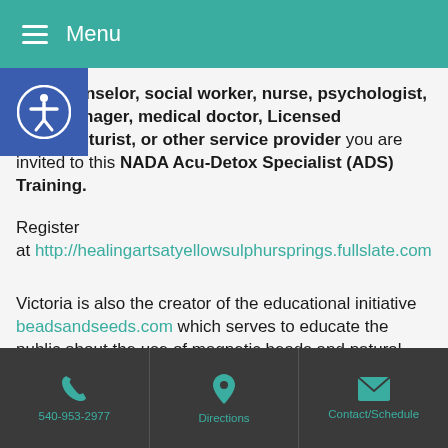Menu
As a counselor, social worker, nurse, psychologist, case manager, medical doctor, Licensed Acupuncturist, or other service provider you are invited to this NADA Acu-Detox Specialist (ADS) Training.
Register at http://healingartsatyellowsulphursprings.fullslate.com
Victoria is also the creator of the educational initiative beadsandseeds.com which serves to educate the public about the use of magnetic beads and natural
540-953-2977 | Directions | Contact/Schedule